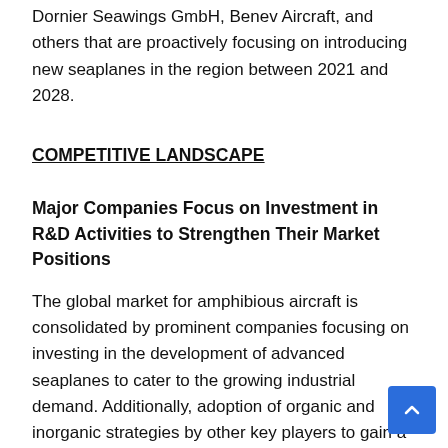Dornier Seawings GmbH, Benev Aircraft, and others that are proactively focusing on introducing new seaplanes in the region between 2021 and 2028.
COMPETITIVE LANDSCAPE
Major Companies Focus on Investment in R&D Activities to Strengthen Their Market Positions
The global market for amphibious aircraft is consolidated by prominent companies focusing on investing in the development of advanced seaplanes to cater to the growing industrial demand. Additionally, adoption of organic and inorganic strategies by other key players to gain a major chunk of the market share is